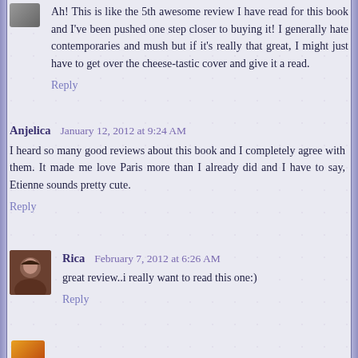Ah! This is like the 5th awesome review I have read for this book and I've been pushed one step closer to buying it! I generally hate contemporaries and mush but if it's really that great, I might just have to get over the cheese-tastic cover and give it a read.
Reply
Anjelica January 12, 2012 at 9:24 AM
I heard so many good reviews about this book and I completely agree with them. It made me love Paris more than I already did and I have to say, Etienne sounds pretty cute.
Reply
Rica February 7, 2012 at 6:26 AM
great review..i really want to read this one:)
Reply